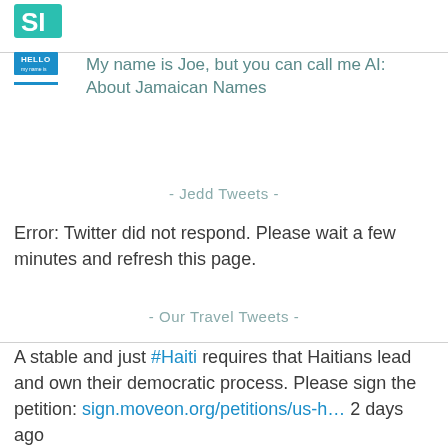[Figure (logo): Teal/green stylized logo mark in top left]
[Figure (illustration): HELLO my name is badge image thumbnail with blue underline bar]
My name is Joe, but you can call me AI: About Jamaican Names
- Jedd Tweets -
Error: Twitter did not respond. Please wait a few minutes and refresh this page.
- Our Travel Tweets -
A stable and just #Haiti requires that Haitians lead and own their democratic process. Please sign the petition: sign.moveon.org/petitions/us-h… 2 days ago